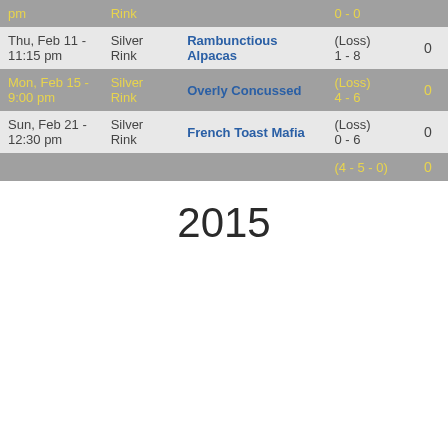| Date | Rink | Opponent | Score | Pts |
| --- | --- | --- | --- | --- |
| pm | Rink |  | 0 - 0 |  |
| Thu, Feb 11 - 11:15 pm | Silver Rink | Rambunctious Alpacas | (Loss) 1 - 8 | 0 |
| Mon, Feb 15 - 9:00 pm | Silver Rink | Overly Concussed | (Loss) 4 - 6 | 0 |
| Sun, Feb 21 - 12:30 pm | Silver Rink | French Toast Mafia | (Loss) 0 - 6 | 0 |
|  |  |  | (4 - 5 - 0) | 0 |
2015